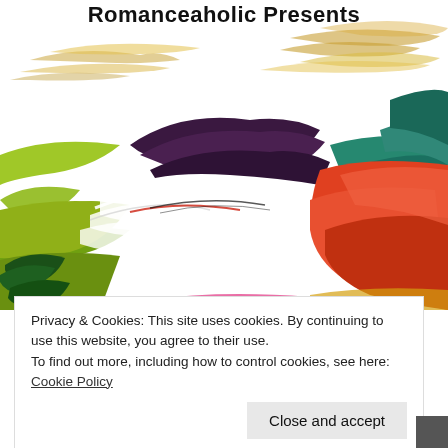Romanceaholic Presents
[Figure (illustration): Colorful watercolor artwork showing abstract mountain landscape with yellow, green, red, teal and dark purple paint strokes, with golden brushstroke texture at top and white swirling forms in the middle]
Privacy & Cookies: This site uses cookies. By continuing to use this website, you agree to their use.
To find out more, including how to control cookies, see here:
Cookie Policy
Close and accept